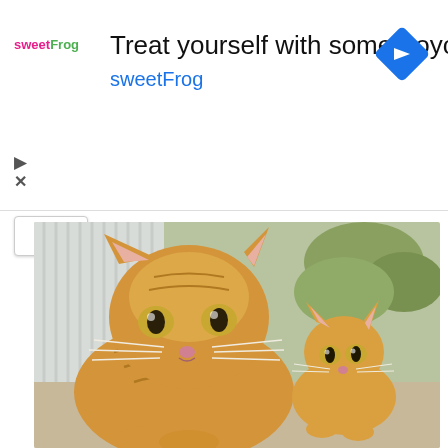[Figure (other): sweetFrog advertisement banner with logo, title 'Treat yourself with some froyo', brand name 'sweetFrog', navigation arrow icon, play and close buttons]
[Figure (photo): Two orange tabby cats — a large adult cat in the foreground staring at the camera with wide eyes, and a smaller kitten in the background also looking at the camera. They are outdoors near a white wall with dirt/ground visible.]